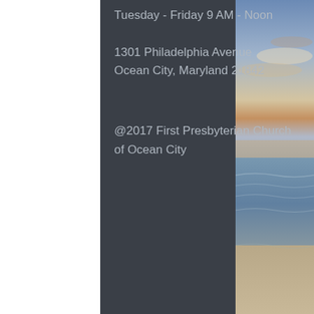Tuesday - Friday 9 AM - Noon
1301 Philadelphia Avenue
Ocean City, Maryland 21842
@2017 First Presbyterian Church of Ocean City
[Figure (other): Back to top arrow button — white/light gray square button with upward-pointing black arrow icon]
[Figure (photo): Beach sunset photo showing ocean waves, sandy beach, and colorful sky with clouds]